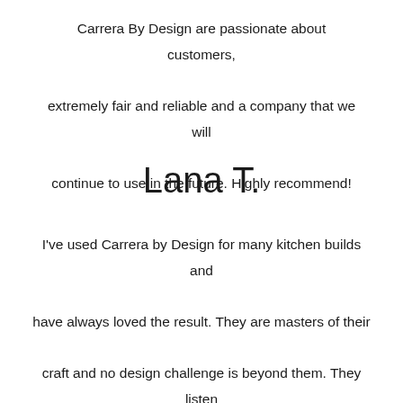Carrera By Design are passionate about customers, extremely fair and reliable and a company that we will continue to use in the future. Highly recommend!
Lana T.
I've used Carrera by Design for many kitchen builds and have always loved the result. They are masters of their craft and no design challenge is beyond them. They listen and really care about giving me what I want. I trust Ronnie and his team – they're open and honest ... they feel like family.